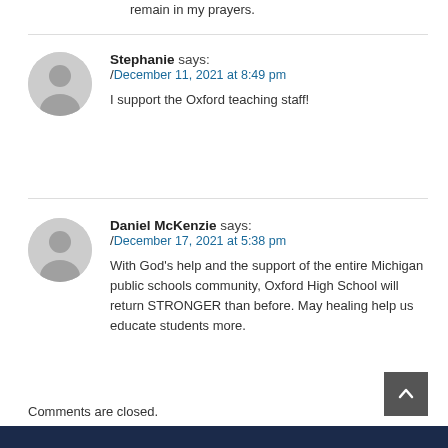remain in my prayers.
Stephanie says: / December 11, 2021 at 8:49 pm
I support the Oxford teaching staff!
Daniel McKenzie says: / December 17, 2021 at 5:38 pm
With God's help and the support of the entire Michigan public schools community, Oxford High School will return STRONGER than before. May healing help us educate students more.
Comments are closed.